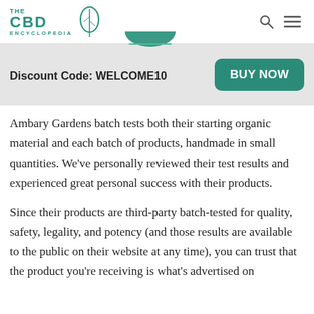THE CBD ENCYCLOPEDIA
[Figure (other): Partial view of a circular product image or badge at top of banner area]
Discount Code: WELCOME10
[Figure (other): BUY NOW button (teal rounded rectangle)]
Ambary Gardens batch tests both their starting organic material and each batch of products, handmade in small quantities. We've personally reviewed their test results and experienced great personal success with their products.
Since their products are third-party batch-tested for quality, safety, legality, and potency (and those results are available to the public on their website at any time), you can trust that the product you're receiving is what's advertised on